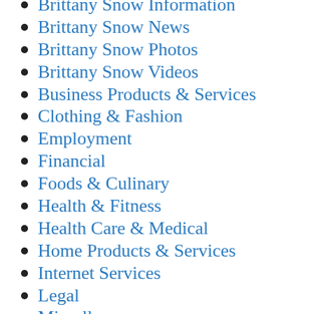Brittany Snow Information
Brittany Snow News
Brittany Snow Photos
Brittany Snow Videos
Business Products & Services
Clothing & Fashion
Employment
Financial
Foods & Culinary
Health & Fitness
Health Care & Medical
Home Products & Services
Internet Services
Legal
Miscellaneous
Personal Product & Services
Pets & Animals